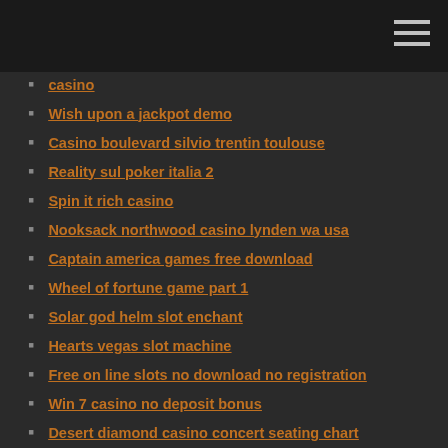casino
Wish upon a jackpot demo
Casino boulevard silvio trentin toulouse
Reality sul poker italia 2
Spin it rich casino
Nooksack northwood casino lynden wa usa
Captain america games free download
Wheel of fortune game part 1
Solar god helm slot enchant
Hearts vegas slot machine
Free on line slots no download no registration
Win 7 casino no deposit bonus
Desert diamond casino concert seating chart
Four winds casino loose slots
Black jackpot casino line...